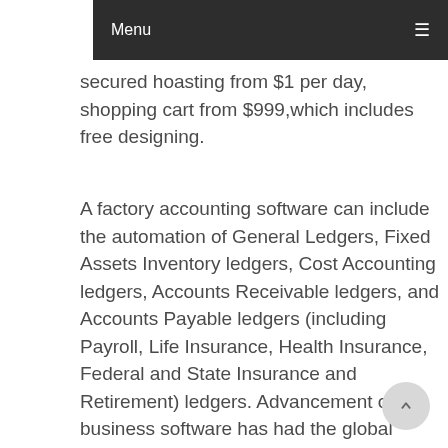Menu
secured hoasting from $1 per day, shopping cart from $999,which includes free designing.
A factory accounting software can include the automation of General Ledgers, Fixed Assets Inventory ledgers, Cost Accounting ledgers, Accounts Receivable ledgers, and Accounts Payable ledgers (including Payroll, Life Insurance, Health Insurance, Federal and State Insurance and Retirement) ledgers. Advancement of business software has had the global impact of the Internet, with its Email and Websites that now serve commercial interests worldwide. Our consultants can provide the following softwares for your businesses:” business